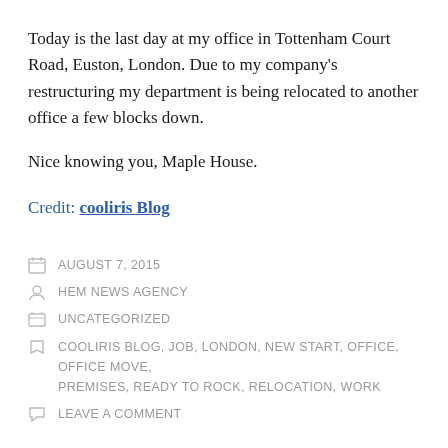Today is the last day at my office in Tottenham Court Road, Euston, London. Due to my company’s restructuring my department is being relocated to another office a few blocks down.
Nice knowing you, Maple House.
Credit: cooliris Blog
AUGUST 7, 2015
HEM NEWS AGENCY
UNCATEGORIZED
COOLIRIS BLOG, JOB, LONDON, NEW START, OFFICE, OFFICE MOVE, PREMISES, READY TO ROCK, RELOCATION, WORK
LEAVE A COMMENT